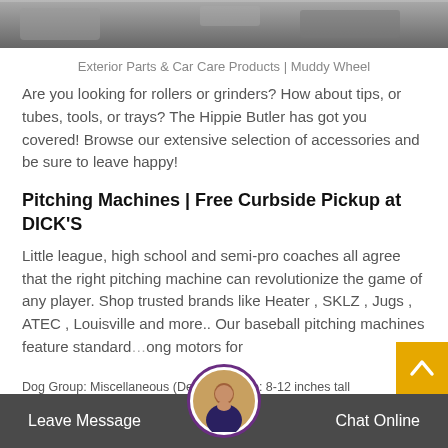[Figure (photo): Top strip showing part of a car or mechanical component, partially cropped]
Exterior Parts & Car Care Products | Muddy Wheel
Are you looking for rollers or grinders? How about tips, or tubes, tools, or trays? The Hippie Butler has got you covered! Browse our extensive selection of accessories and be sure to leave happy!
Pitching Machines | Free Curbside Pickup at DICK'S
Little league, high school and semi-pro coaches all agree that the right pitching machine can revolutionize the game of any player. Shop trusted brands like Heater , SKLZ , Jugs , ATEC , Louisville and more.. Our baseball pitching machines feature standard...ong motors for
Dog Group: Miscellaneous (Designer) Size: 8-12 inches tall
Leave Message   Chat Online